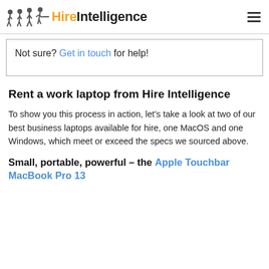Hire Intelligence
Not sure? Get in touch for help!
Rent a work laptop from Hire Intelligence
To show you this process in action, let's take a look at two of our best business laptops available for hire, one MacOS and one Windows, which meet or exceed the specs we sourced above.
Small, portable, powerful – the Apple Touchbar MacBook Pro 13